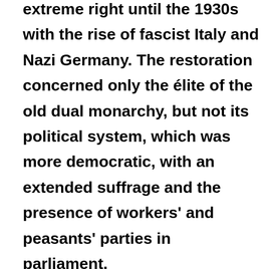extreme right until the 1930s with the rise of fascist Italy and Nazi Germany. The restoration concerned only the élite of the old dual monarchy, but not its political system, which was more democratic, with an extended suffrage and the presence of workers' and peasants' parties in parliament.
[Figure (photo): Black and white portrait photograph of Count István Bethlen]
Count István Bethlen, Prime Minister in 1921–31, the Regent's close adviser throughout the inter-War period